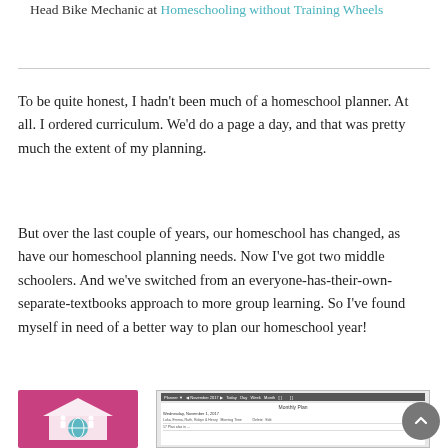Head Bike Mechanic at Homeschooling without Training Wheels
To be quite honest, I hadn't been much of a homeschool planner. At all. I ordered curriculum. We'd do a page a day, and that was pretty much the extent of my planning.
But over the last couple of years, our homeschool has changed, as have our homeschool planning needs. Now I've got two middle schoolers. And we've switched from an everyone-has-their-own-separate-textbooks approach to more group learning. So I've found myself in need of a better way to plan our homeschool year!
[Figure (illustration): Pink/magenta icon showing two figures under a house roof with a globe, representing homeschooling]
[Figure (screenshot): Screenshot of a homeschool planning software interface showing Monthly Plan for Wednesday, November 1, 2017]